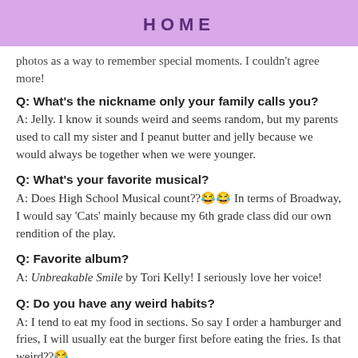HOME
photos as a way to remember special moments. I couldn't agree more!
Q: What's the nickname only your family calls you?
A: Jelly. I know it sounds weird and seems random, but my parents used to call my sister and I peanut butter and jelly because we would always be together when we were younger.
Q: What's your favorite musical?
A: Does High School Musical count??😂😂 In terms of Broadway, I would say 'Cats' mainly because my 6th grade class did our own rendition of the play.
Q: Favorite album?
A: Unbreakable Smile by Tori Kelly! I seriously love her voice!
Q: Do you have any weird habits?
A: I tend to eat my food in sections. So say I order a hamburger and fries, I will usually eat the burger first before eating the fries. Is that weird??😂
Q:What was the best phase in your life?
A: Honestly, I don't have a definite answer since I am still...